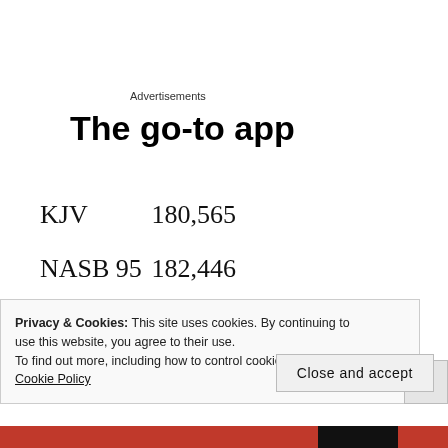Advertisements
The go-to app
KJV    180,565
NASB 95   182,446
NASB   184,062
Privacy & Cookies: This site uses cookies. By continuing to use this website, you agree to their use.
To find out more, including how to control cookies, see here: Cookie Policy
Close and accept